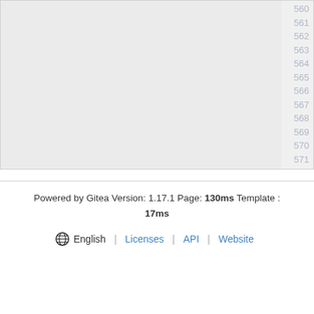[Figure (screenshot): Code editor panel showing line numbers 560 through 571 on the right side, with a light gray content area on the left. The panel is partially cropped.]
Powered by Gitea Version: 1.17.1 Page: 130ms Template : 17ms
English | Licenses | API | Website